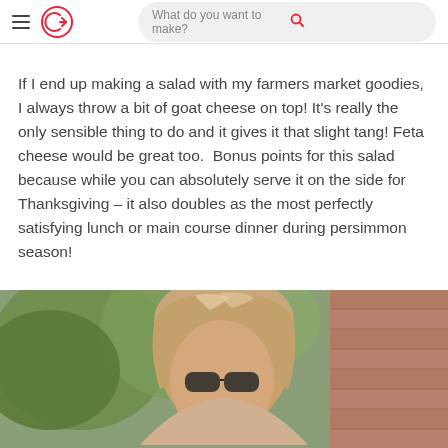What do you want to make?
If I end up making a salad with my farmers market goodies, I always throw a bit of goat cheese on top! It’s really the only sensible thing to do and it gives it that slight tang! Feta cheese would be great too.  Bonus points for this salad because while you can absolutely serve it on the side for Thanksgiving – it also doubles as the most perfectly satisfying lunch or main course dinner during persimmon season!
[Figure (photo): Woman with long blonde hair outdoors near greenery and a brick wall]